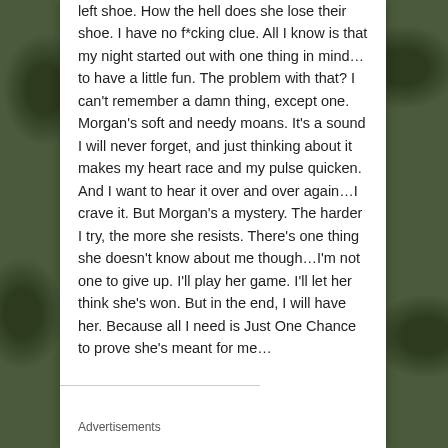left shoe. How the hell does she lose their shoe. I have no f*cking clue. All I know is that my night started out with one thing in mind…to have a little fun. The problem with that? I can't remember a damn thing, except one. Morgan's soft and needy moans. It's a sound I will never forget, and just thinking about it makes my heart race and my pulse quicken. And I want to hear it over and over again…I crave it. But Morgan's a mystery. The harder I try, the more she resists. There's one thing she doesn't know about me though…I'm not one to give up. I'll play her game. I'll let her think she's won. But in the end, I will have her. Because all I need is Just One Chance to prove she's meant for me…
Advertisements